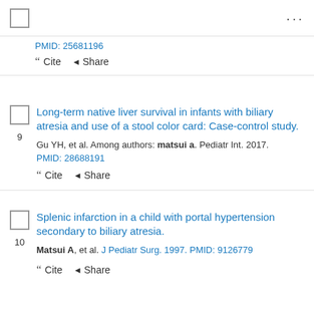...
PMID: 25681196
Cite  Share
Long-term native liver survival in infants with biliary atresia and use of a stool color card: Case-control study.
Gu YH, et al. Among authors: matsui a. Pediatr Int. 2017. PMID: 28688191
Cite  Share
Splenic infarction in a child with portal hypertension secondary to biliary atresia.
Matsui A, et al. J Pediatr Surg. 1997. PMID: 9126779
Cite  Share